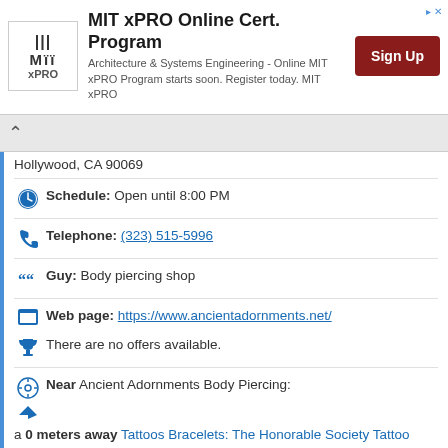[Figure (other): MIT xPRO advertisement banner with logo, text about Architecture & Systems Engineering Online program, and Sign Up button]
Hollywood, CA 90069
Schedule: Open until 8:00 PM
Telephone: (323) 515-5996
Guy: Body piercing shop
Web page: https://www.ancientadornments.net/
There are no offers available.
Near Ancient Adornments Body Piercing:
a 0 meters away Tattoos Bracelets: The Honorable Society Tattoo Parlor and Lounge
Are you the owner of the business? PROMOTE IT!